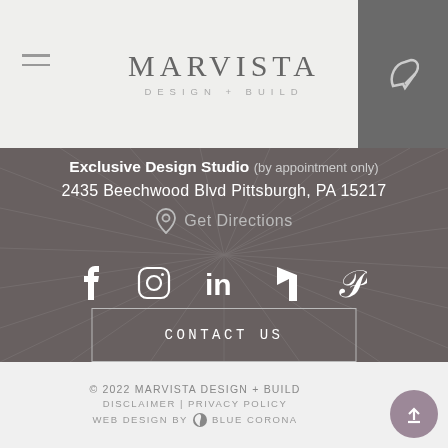MARVISTA DESIGN + BUILD
Exclusive Design Studio (by appointment only)
2435 Beechwood Blvd Pittsburgh, PA 15217
Get Directions
[Figure (infographic): Social media icons: Facebook, Instagram, LinkedIn, Houzz, Pinterest]
CONTACT US
© 2022 MARVISTA DESIGN + BUILD   DISCLAIMER | PRIVACY POLICY   WEB DESIGN BY BLUE CORONA